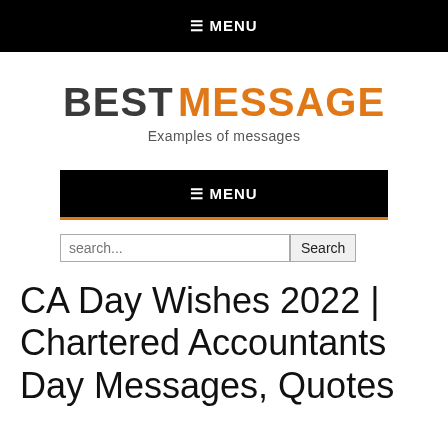≡ MENU
BEST MESSAGE — Examples of messages
≡ MENU
search...
CA Day Wishes 2022 | Chartered Accountants Day Messages, Quotes